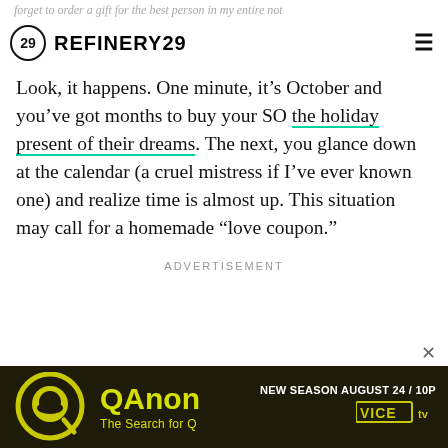REFINERY29
forget to order a gift for the best person in my entire not
Look, it happens. One minute, it’s October and you’ve got months to buy your SO the holiday present of their dreams. The next, you glance down at the calendar (a cruel mistress if I’ve ever known one) and realize time is almost up. This situation may call for a homemade “love coupon.”
ADVERTISEMENT
[Figure (other): QAnon The Search for Q advertisement banner. New Season August 24 / 10P. Vice TV logo.]